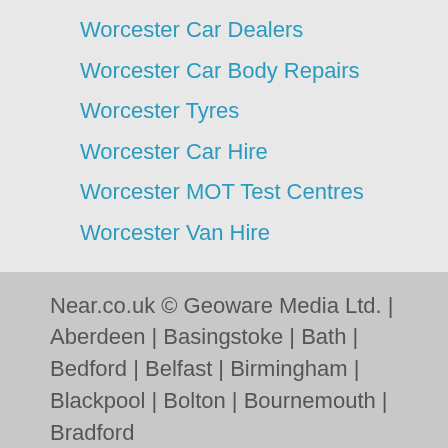Worcester Car Dealers
Worcester Car Body Repairs
Worcester Tyres
Worcester Car Hire
Worcester MOT Test Centres
Worcester Van Hire
Near.co.uk © Geoware Media Ltd. | Aberdeen | Basingstoke | Bath | Bedford | Belfast | Birmingham | Blackpool | Bolton | Bournemouth | Bradford
Privacy & Cookies Policy | Terms of Use | Community Guidelines
support@near.co.uk